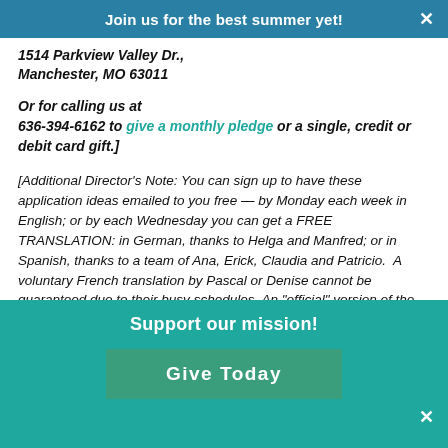Join us for the best summer yet!
1514 Parkview Valley Dr., Manchester, MO 63011
Or for calling us at 636-394-6162 to give a monthly pledge or a single, credit or debit card gift.]
[Additional Director's Note: You can sign up to have these application ideas emailed to you free — by Monday each week in English; or by each Wednesday you can get a FREE TRANSLATION: in German, thanks to Helga and Manfred; or in Spanish, thanks to a team of Ana, Erick, Claudia and Patricio. A voluntary French translation by Pascal or Denise cannot be guaranteed due to their busy schedules. An "official" version of the weekly Portuguese translation is now available for CedarS Mets, thanks to helpers of Orlando Trentini in Brazil. Go to http://www.cedarscamps.org/ and click "Newsletters" to sign up
Support our mission!
Give Today